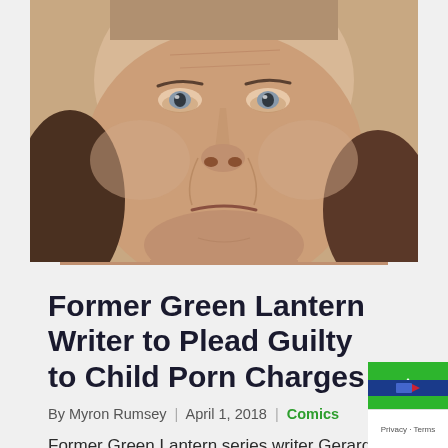[Figure (photo): Close-up mugshot photo of a middle-aged white man with grey eyes, frowning expression, wrinkled skin, and dark hair on the sides. The bottom of the image has rounded corners.]
Former Green Lantern Writer to Plead Guilty to Child Porn Charges
By Myron Rumsey | April 1, 2018 | Comics
Former Green Lantern series writer Gerard